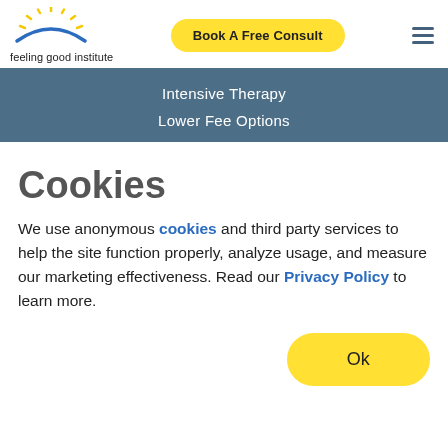feeling good institute | Book A Free Consult
Intensive Therapy
Lower Fee Options
Cookies
We use anonymous cookies and third party services to help the site function properly, analyze usage, and measure our marketing effectiveness. Read our Privacy Policy to learn more.
Ok